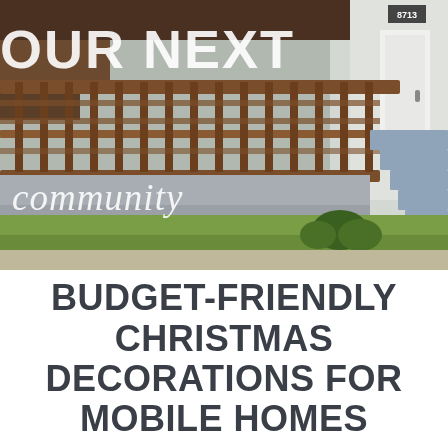[Figure (photo): Photo of a mobile home exterior with a brown wooden deck/railing, blue-gray stairs, green lawn, and small shrubs. Overlaid white text reads 'YOUR NEXT' at top and 'community' in italic script below.]
BUDGET-FRIENDLY CHRISTMAS DECORATIONS FOR MOBILE HOMES